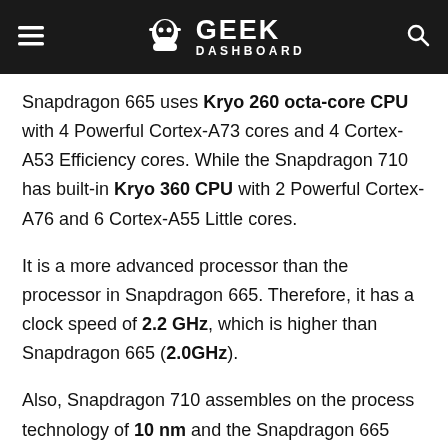GEEK DASHBOARD
Snapdragon 665 uses Kryo 260 octa-core CPU with 4 Powerful Cortex-A73 cores and 4 Cortex-A53 Efficiency cores. While the Snapdragon 710 has built-in Kryo 360 CPU with 2 Powerful Cortex-A76 and 6 Cortex-A55 Little cores.
It is a more advanced processor than the processor in Snapdragon 665. Therefore, it has a clock speed of 2.2 GHz, which is higher than Snapdragon 665 (2.0GHz).
Also, Snapdragon 710 assembles on the process technology of 10 nm and the Snapdragon 665